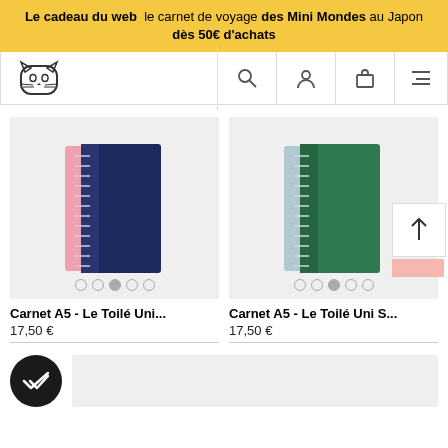Le cadeau du web  le carnet de voyage des Mini Mondes au Japon dès 50€ d'achats
[Figure (screenshot): Navigation bar with tiger/cat logo icon on the left, and search, user account, shopping bag, and hamburger menu icons on the right]
[Figure (photo): Navy blue spiral-bound A5 notebook on light grey background with image carousel dots below]
Carnet A5 - Le Toilé Uni...
17,50 €
[Figure (photo): Green spiral-bound A5 notebook on light grey background with image carousel dots below and scroll-to-top button overlay]
Carnet A5 - Le Toilé Uni S...
17,50 €
[Figure (illustration): Black circle with white double checkmark icon (Telegram-style read receipt)]